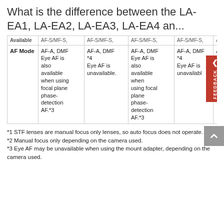What is the difference between the LA-EA1, LA-EA2, LA-EA3, LA-EA4 an...
|  | LA-EA1 | LA-EA2 | LA-EA3 | LA-EA4 |  |
| --- | --- | --- | --- | --- | --- |
| Available | AF-S/MF-S, AF-A, DMF Eye AF is also available when using focal plane phase-detection AF.*3 | AF-S/MF-S, AF-A, DMF *4 Eye AF is unavailable. | AF-S/MF-S, AF-A, DMF Eye AF is also available when using focal plane phase-detection AF.*3 | AF-S/MF-S, AF-A, DMF *4 Eye AF is unavailable. | A F... p d A |
*1 STF lenses are manual focus only lenses, so auto focus does not operate.
*2 Manual focus only depending on the camera used.
*3 Eye AF may be unavailable when using the mount adapter, depending on the camera used.